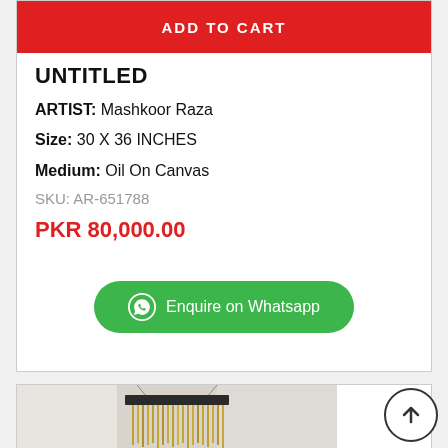ADD TO CART
UNTITLED
ARTIST: Mashkoor Raza
Size: 30 X 36 INCHES
Medium: Oil On Canvas
SKU: AR-651788
PKR 80,000.00
Enquire on Whatsapp
[Figure (photo): A hanging square pendant light or artwork frame with golden chain-like strands falling from a dark square frame, suspended from ceiling by thin wires, photographed against a light background.]